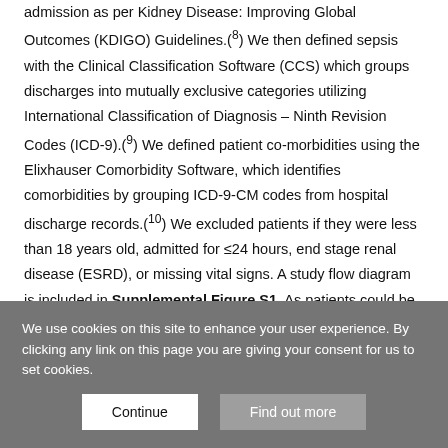admission as per Kidney Disease: Improving Global Outcomes (KDIGO) Guidelines.(8) We then defined sepsis with the Clinical Classification Software (CCS) which groups discharges into mutually exclusive categories utilizing International Classification of Diagnosis – Ninth Revision Codes (ICD-9).(9) We defined patient co-morbidities using the Elixhauser Comorbidity Software, which identifies comorbidities by grouping ICD-9-CM codes from hospital discharge records.(10) We excluded patients if they were less than 18 years old, admitted for ≤24 hours, end stage renal disease (ESRD), or missing vital signs. A study flow diagram is included in Supplemental Figure S1. As patients could be admitted several times during the 11 year period and develop AKI, we considered only the data from the first admission with AKI
We use cookies on this site to enhance your user experience. By clicking any link on this page you are giving your consent for us to set cookies.